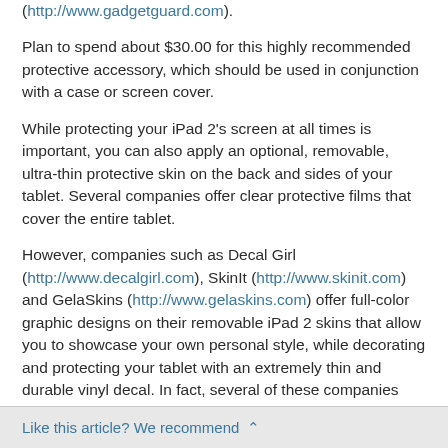(http://www.gadgetguard.com).
Plan to spend about $30.00 for this highly recommended protective accessory, which should be used in conjunction with a case or screen cover.
While protecting your iPad 2's screen at all times is important, you can also apply an optional, removable, ultra-thin protective skin on the back and sides of your tablet. Several companies offer clear protective films that cover the entire tablet.
However, companies such as Decal Girl (http://www.decalgirl.com), SkinIt (http://www.skinit.com) and GelaSkins (http://www.gelaskins.com) offer full-color graphic designs on their removable iPad 2 skins that allow you to showcase your own personal style, while decorating and protecting your tablet with an extremely thin and durable vinyl decal. In fact, several of these companies even allow you to create custom skins using your own digital photos for the ultimate in personalization.
Like this article? We recommend